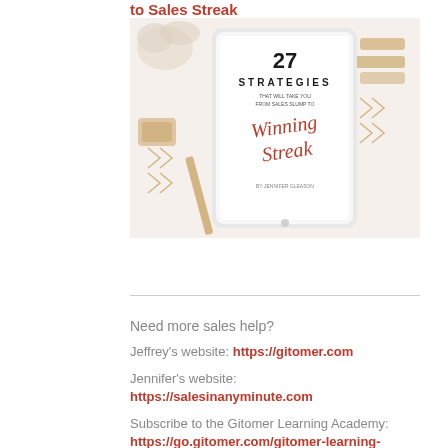to Sales Streak
[Figure (photo): Book cover image of '27 Strategies That Will Take You From Sales Slump to Winning Streak' by Jennifer Gleason, displayed on a tablet surrounded by gold office accessories on a white background.]
Need more sales help?
Jeffrey's website: https://gitomer.com
Jennifer's website: https://salesinanyminute.com
Subscribe to the Gitomer Learning Academy: https://go.gitomer.com/gitomer-learning-